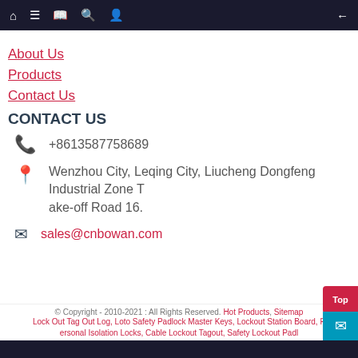Navigation bar with home, menu, book, search, profile icons and back arrow
About Us
Products
Contact Us
CONTACT US
+8613587758689
Wenzhou City, Leqing City, Liucheng Dongfeng Industrial Zone Take-off Road 16.
sales@cnbowan.com
© Copyright - 2010-2021 : All Rights Reserved. Hot Products, Sitemap Lock Out Tag Out Log, Loto Safety Padlock Master Keys, Lockout Station Board, Personal Isolation Locks, Cable Lockout Tagout, Safety Lockout Padl…